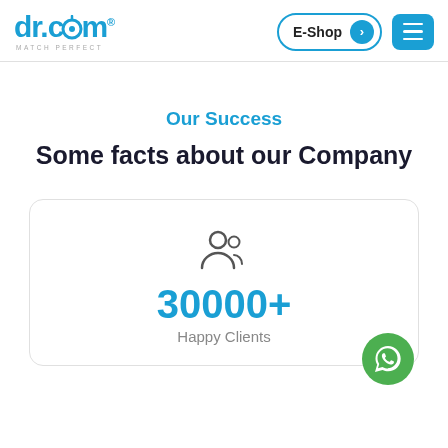dr.com | MATCH PERFECT — E-Shop | Menu
Our Success
Some facts about our Company
30000+ Happy Clients